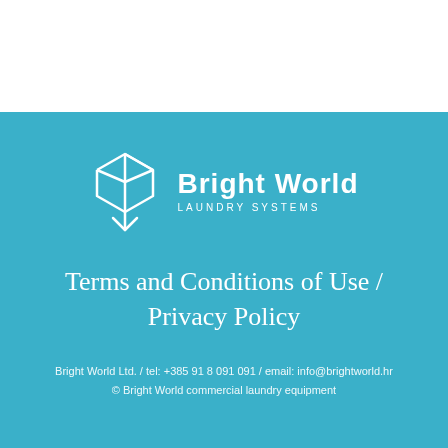[Figure (logo): Bright World Laundry Systems logo — white cube/box icon on teal background with brand name 'Bright World' and tagline 'LAUNDRY SYSTEMS']
Terms and Conditions of Use / Privacy Policy
Bright World Ltd.  /  tel: +385 91 8 091 091  /  email: info@brightworld.hr
© Bright World commercial laundry equipment